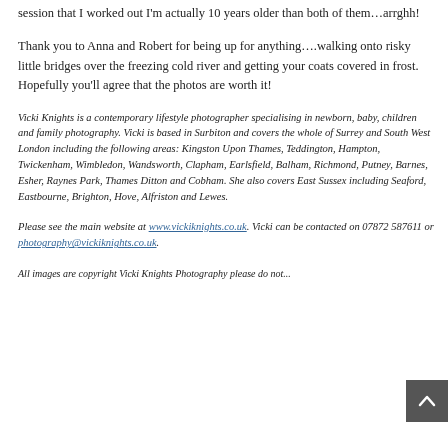session that I worked out I'm actually 10 years older than both of them…arrghh!
Thank you to Anna and Robert for being up for anything….walking onto risky little bridges over the freezing cold river and getting your coats covered in frost. Hopefully you'll agree that the photos are worth it!
Vicki Knights is a contemporary lifestyle photographer specialising in newborn, baby, children and family photography. Vicki is based in Surbiton and covers the whole of Surrey and South West London including the following areas: Kingston Upon Thames, Teddington, Hampton, Twickenham, Wimbledon, Wandsworth, Clapham, Earlsfield, Balham, Richmond, Putney, Barnes, Esher, Raynes Park, Thames Ditton and Cobham. She also covers East Sussex including Seaford, Eastbourne, Brighton, Hove, Alfriston and Lewes.
Please see the main website at www.vickiknights.co.uk. Vicki can be contacted on 07872 587611 or photography@vickiknights.co.uk.
All images are copyright Vicki Knights Photography please do not...